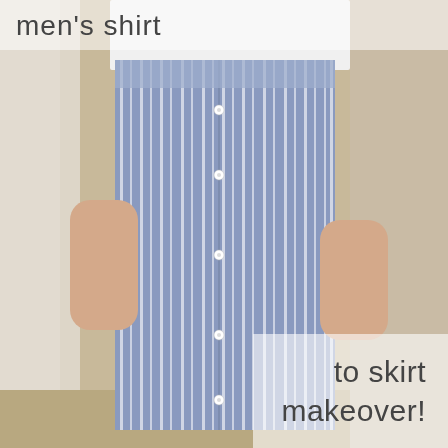[Figure (photo): A person wearing a blue and white striped skirt made from a men's shirt, with white t-shirt tucked in. The skirt has visible shirt buttons down the front placket. Background shows a curtain and wooden floor.]
men's shirt
to skirt makeover!